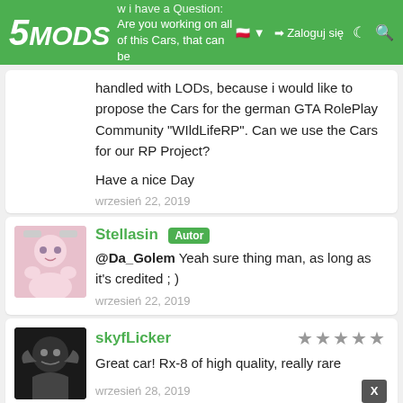5MODS - I have a Question: Are you working on all of this Cars, that can be handled with LODs... Zaloguj się
handled with LODs, because i would like to propose the Cars for the german GTA RolePlay Community "WIldLifeRP". Can we use the Cars for our RP Project?

Have a nice Day
wrzesień 22, 2019
Stellasin Autor
@Da_Golem Yeah sure thing man, as long as it's credited ; )
wrzesień 22, 2019
skyfLicker
Great car! Rx-8 of high quality, really rare
wrzesień 28, 2019
Aeztus